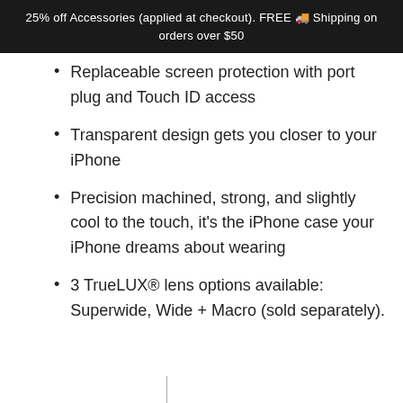25% off Accessories (applied at checkout). FREE 🚚 Shipping on orders over $50
Replaceable screen protection with port plug and Touch ID access
Transparent design gets you closer to your iPhone
Precision machined, strong, and slightly cool to the touch, it's the iPhone case your iPhone dreams about wearing
3 TrueLUX® lens options available: Superwide, Wide + Macro (sold separately).